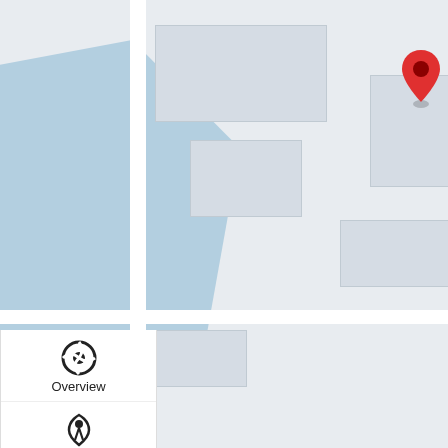[Figure (screenshot): Google Maps view showing a location pin (red marker) over a map with streets, blocks, and a blue water/area. Bottom bar shows 'Keyboard shortcuts  Map data ©2022  20 m']
[Figure (screenshot): Left sidebar with navigation icons: Overview (lifesaver icon), Meeting (Pinterest-like icon), GPS (location pin), Price (dollar bill icon), Hotels (hotel building icon)]
[Figure (screenshot): Popup overlay panel from tourfrombali.com with header 'Tour From Bali', URL, tagline, promo text, customer/agent links, and live chat icon]
You can play in Bali Island only pay with $246📲
I am a Customer
I am a Travel agent
LIVE CHAT
Price
otel